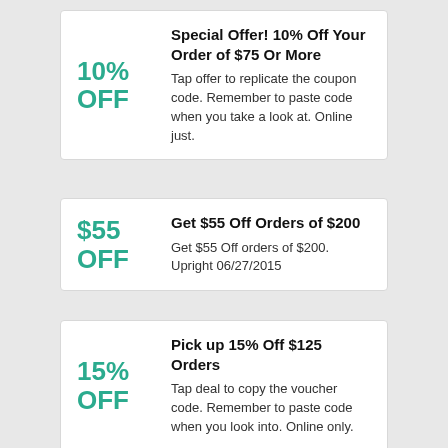10% OFF — Special Offer! 10% Off Your Order of $75 Or More. Tap offer to replicate the coupon code. Remember to paste code when you take a look at. Online just.
$55 OFF — Get $55 Off Orders of $200. Get $55 Off orders of $200. Upright 06/27/2015
15% OFF — Pick up 15% Off $125 Orders. Tap deal to copy the voucher code. Remember to paste code when you look into. Online only.